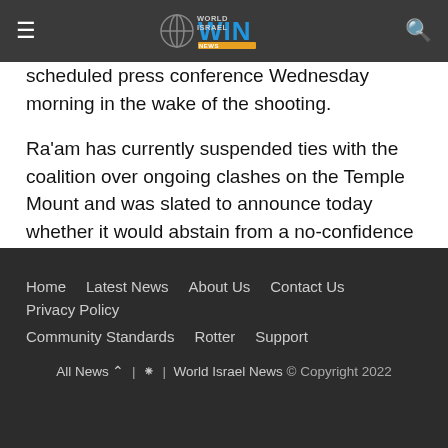WIN World Israel News
scheduled press conference Wednesday morning in the wake of the shooting.
Ra'am has currently suspended ties with the coalition over ongoing clashes on the Temple Mount and was slated to announce today whether it would abstain from a no-confidence vote which could potentially dissolve the current government.
al Jazeera
IDF
Jenin
Media Bias
Palestinian terror
Shireen Abu Akleh
Home  Latest News  About Us  Contact Us  Privacy Policy  Community Standards  Rotter  Support  All News | World Israel News © Copyright 2022